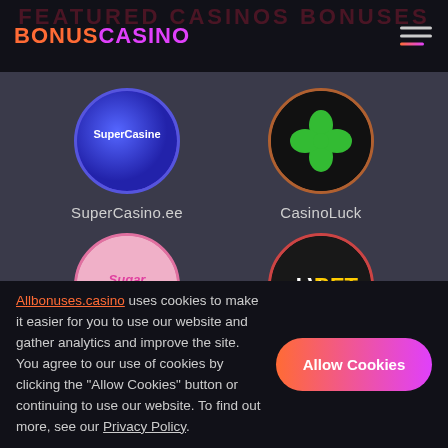FEATURED CASINOS BONUSES
BONUSCASINO
[Figure (illustration): Grid of four casino logos: SuperCasino.ee (blue circle), CasinoLuck (black circle with green clover), Sugar Casino (pink circle), LV BET (black circle with yellow text)]
Allbonuses.casino uses cookies to make it easier for you to use our website and gather analytics and improve the site. You agree to our use of cookies by clicking the "Allow Cookies" button or continuing to use our website. To find out more, see our Privacy Policy.